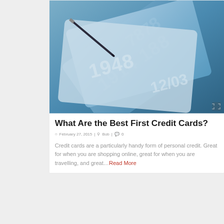[Figure (photo): Close-up photo of multiple blue-toned credit cards showing embossed numbers including 1914 188, 7878, 1948, 12/03, with a pen tip visible]
What Are the Best First Credit Cards?
February 27, 2015 | Bob | 0
Credit cards are a particularly handy form of personal credit. Great for when you are shopping online, great for when you are travelling, and great…Read More
[Figure (photo): Partial view of fanned-out credit cards in various colors including silver, gold, black and purple]